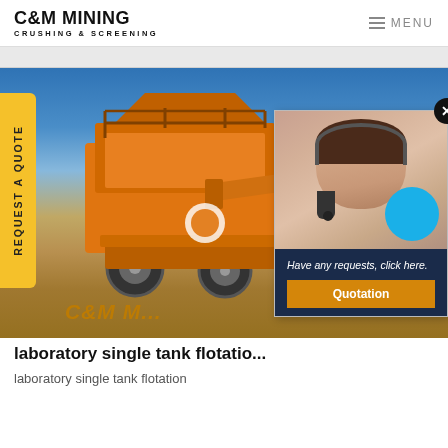C&M MINING CRUSHING & SCREENING
[Figure (photo): Orange mobile mining crushing and screening machine on a dirt surface against a blue sky background]
[Figure (photo): Customer service representative popup overlay with headset, blue circle, dark navy background with italic text: Have any requests, click here. and a Quotation button]
laboratory single tank flotation
laboratory single tank flotation